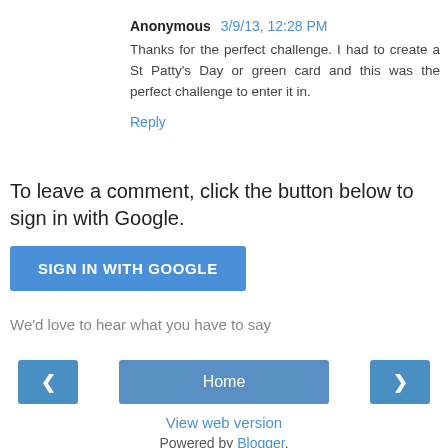Anonymous 3/9/13, 12:28 PM
Thanks for the perfect challenge. I had to create a St Patty's Day or green card and this was the perfect challenge to enter it in.
Reply
To leave a comment, click the button below to sign in with Google.
SIGN IN WITH GOOGLE
We'd love to hear what you have to say
‹
Home
›
View web version
Powered by Blogger.